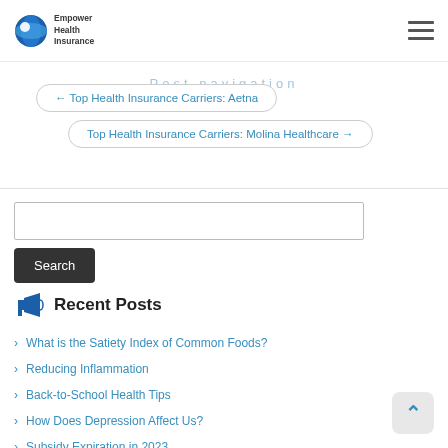Empower Health Insurance
Post navigation
← Top Health Insurance Carriers: Aetna
Top Health Insurance Carriers: Molina Healthcare →
Recent Posts
What is the Satiety Index of Common Foods?
Reducing Inflammation
Back-to-School Health Tips
How Does Depression Affect Us?
Subsidy Expiration in 2023